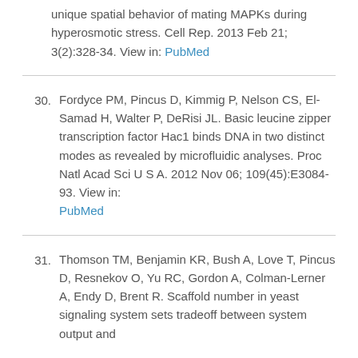unique spatial behavior of mating MAPKs during hyperosmotic stress. Cell Rep. 2013 Feb 21; 3(2):328-34. View in: PubMed
30. Fordyce PM, Pincus D, Kimmig P, Nelson CS, El-Samad H, Walter P, DeRisi JL. Basic leucine zipper transcription factor Hac1 binds DNA in two distinct modes as revealed by microfluidic analyses. Proc Natl Acad Sci U S A. 2012 Nov 06; 109(45):E3084-93. View in: PubMed
31. Thomson TM, Benjamin KR, Bush A, Love T, Pincus D, Resnekov O, Yu RC, Gordon A, Colman-Lerner A, Endy D, Brent R. Scaffold number in yeast signaling system sets tradeoff between system output and